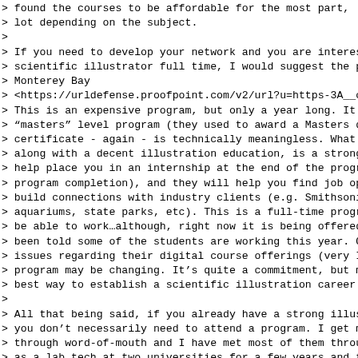> found the courses to be affordable for the most part,
> lot depending on the subject.
>
> If you need to develop your network and you are interes
> scientific illustrator full time, I would suggest the p
> Monterey Bay
> <https://urldefense.proofpoint.com/v2/url?u=https-3A__c
> This is an expensive program, but only a year long. It
> "masters" level program (they used to award a Masters d
> certificate - again - is technically meaningless. What
> along with a decent illustration education, is a strong
> help place you in an internship at the end of the progr
> program completion), and they will help you find job op
> build connections with industry clients (e.g. Smithsoni
> aquariums, state parks, etc). This is a full-time progr
> be able to work...although, right now it is being offered
> been told some of the students are working this year. O
> issues regarding their digital course offerings (very I
> program may be changing. It’s quite a commitment, but m
> best way to establish a scientific illustration career
>
> All that being said, if you already have a strong illus
> you don’t necessarily need to attend a program. I get m
> through word-of-mouth and I have met most of them throu
> as a lab tech at two universities for a few years and t
> assistant at YPM. Most of my clients come from meeting
> jobs, so in terms of a good fit - if you can get a par
> position or work at a museum, zoo, or aquarium that wi
> best because you will be meeting potential clients or p
> people who may be potential clients. Establishing yours